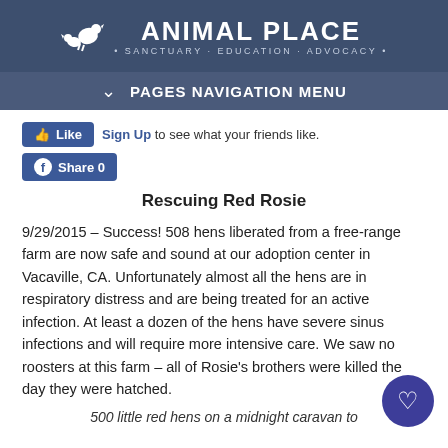[Figure (logo): Animal Place logo with animal silhouette, text 'ANIMAL PLACE' and tagline '• SANCTUARY • EDUCATION • ADVOCACY •' on dark blue background]
PAGES NAVIGATION MENU
[Figure (screenshot): Facebook Like and Share buttons. Like button with thumbs up. 'Sign Up to see what your friends like.' Share 0 button.]
Rescuing Red Rosie
9/29/2015 – Success! 508 hens liberated from a free-range farm are now safe and sound at our adoption center in Vacaville, CA. Unfortunately almost all the hens are in respiratory distress and are being treated for an active infection. At least a dozen of the hens have severe sinus infections and will require more intensive care. We saw no roosters at this farm – all of Rosie's brothers were killed the day they were hatched.
500 little red hens on a midnight caravan to